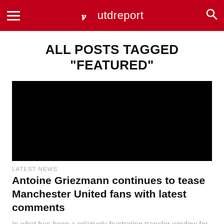utdreport
ALL POSTS TAGGED "FEATURED"
[Figure (photo): Black featured image placeholder]
LATEST NEWS
Antoine Griezmann continues to tease Manchester United fans with latest comments
In what has been a relatively frustrating transfer window for Manchester united so far, perhaps the biggest blow suffered was delivered by...